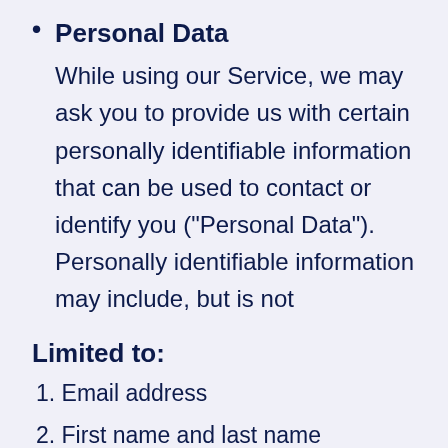Personal Data
While using our Service, we may ask you to provide us with certain personally identifiable information that can be used to contact or identify you (“Personal Data”). Personally identifiable information may include, but is not
Limited to:
1. Email address
2. First name and last name